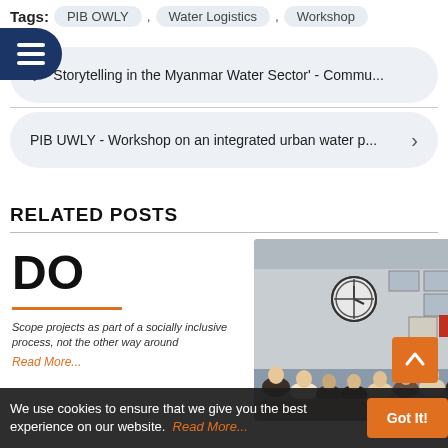Tags: PIB OWLY , Water Logistics , Workshop
← 'Storytelling in the Myanmar Water Sector' - Commu...
PIB UWLY - Workshop on an integrated urban water p... →
RELATED POSTS
[Figure (photo): Group of people seated in a meeting room, workshop setting in Myanmar]
DO
Scope projects as part of a socially inclusive process, not the other way around
Read More...
We use cookies to ensure that we give you the best experience on our website.